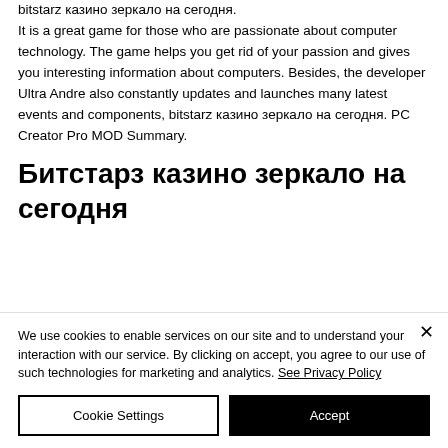bitstarz казино зеркало на сегодня. It is a great game for those who are passionate about computer technology. The game helps you get rid of your passion and gives you interesting information about computers. Besides, the developer Ultra Andre also constantly updates and launches many latest events and components, bitstarz казино зеркало на сегодня. PC Creator Pro MOD Summary.
Битстарз казино зеркало на сегодня
We use cookies to enable services on our site and to understand your interaction with our service. By clicking on accept, you agree to our use of such technologies for marketing and analytics. See Privacy Policy